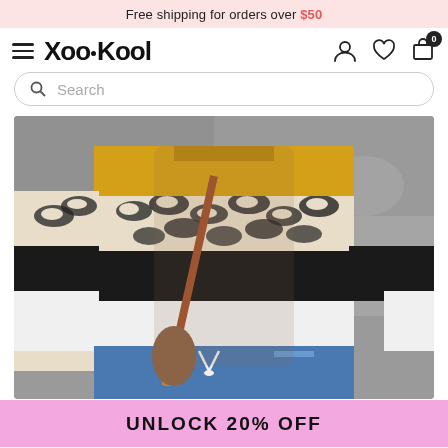Free shipping for orders over $50
[Figure (logo): XooKool brand logo with hamburger menu, user icon, heart icon, and cart icon with badge 0]
[Figure (other): Search bar with magnifying glass icon and placeholder text 'Search']
[Figure (photo): Woman wearing a color-block leopard print sweater (yellow, leopard, black, white) paired with distressed jeans and a brown crossbody bag, posed against a gray concrete wall]
UNLOCK 20% OFF